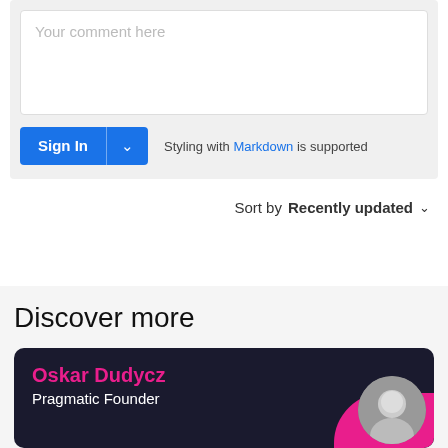Your comment here
Sign In
Styling with Markdown is supported
Sort by Recently updated
Discover more
Oskar Dudycz